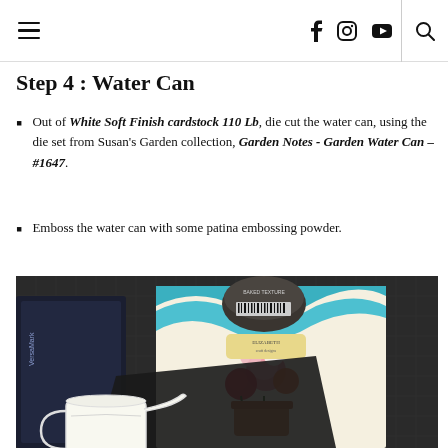navigation icons: hamburger menu, facebook, instagram, youtube, search
Step 4 : Water Can
Out of White Soft Finish cardstock 110 Lb, die cut the water can, using the die set from Susan's Garden collection, Garden Notes - Garden Water Can – #1647.
Emboss the water can with some patina embossing powder.
[Figure (photo): Craft supplies on dark mat: VersaMark ink pad on left, circular tin of embossing powder at top center, Elizabeth Craft Designs packaging with floral water can image, and a white die-cut water can shape in foreground.]